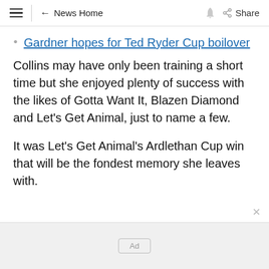≡ ← News Home 🔔 Share
Gardner hopes for Ted Ryder Cup boilover
Collins may have only been training a short time but she enjoyed plenty of success with the likes of Gotta Want It, Blazen Diamond and Let's Get Animal, just to name a few.
It was Let's Get Animal's Ardlethan Cup win that will be the fondest memory she leaves with.